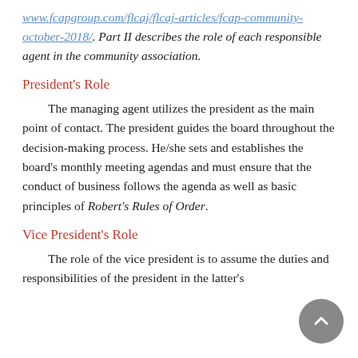www.fcapgroup.com/flcaj/flcaj-articles/fcap-community-october-2018/. Part II describes the role of each responsible agent in the community association.
President's Role
The managing agent utilizes the president as the main point of contact. The president guides the board throughout the decision-making process. He/she sets and establishes the board's monthly meeting agendas and must ensure that the conduct of business follows the agenda as well as basic principles of Robert's Rules of Order.
Vice President's Role
The role of the vice president is to assume the duties and responsibilities of the president in the latter's